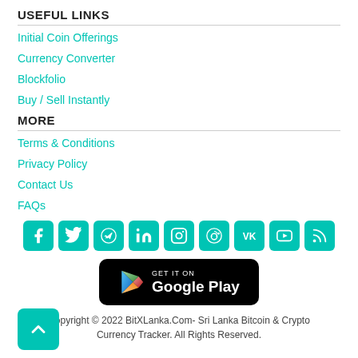USEFUL LINKS
Initial Coin Offerings
Currency Converter
Blockfolio
Buy / Sell Instantly
MORE
Terms & Conditions
Privacy Policy
Contact Us
FAQs
[Figure (infographic): Row of 9 social media icons (Facebook, Twitter, Telegram, LinkedIn, Instagram, Reddit, VK, YouTube, RSS) in teal rounded squares, followed by a Google Play Store download badge, and a back-to-top teal button.]
Copyright © 2022 BitXLanka.Com- Sri Lanka Bitcoin & Crypto Currency Tracker. All Rights Reserved.